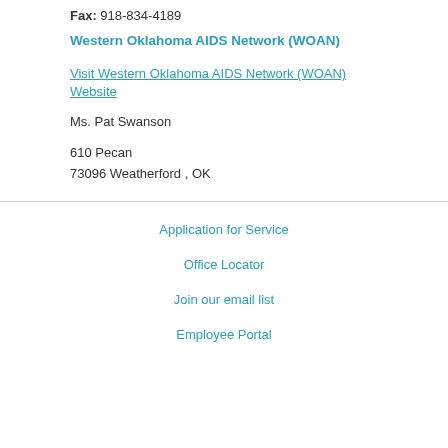Fax: 918-834-4189
Western Oklahoma AIDS Network (WOAN)
Visit Western Oklahoma AIDS Network (WOAN) Website
Ms. Pat Swanson
610 Pecan
73096 Weatherford , OK
Application for Service
Office Locator
Join our email list
Employee Portal